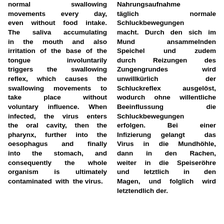normal swallowing movements every day, even without food intake. The saliva accumulating in the mouth and also irritation of the base of the tongue involuntarily triggers the swallowing reflex, which causes the swallowing movements to take place without voluntary influence. When infected, the virus enters the oral cavity, then the pharynx, further into the oesophagus and finally into the stomach, and consequently the whole organism is ultimately contaminated with the virus.
Nahrungsaufnahme täglich normale Schluckbewegungen macht. Durch den sich im Mund ansammelnden Speichel und zudem durch Reizungen des Zungengrundes wird unwillkürlich der Schluckreflex ausgelöst, wodurch ohne willentliche Beeinflussung die Schluckbewegungen erfolgen. Bei einer Infizierung gelangt das Virus in die Mundhöhle, dann in den Rachen, weiter in die Speiseröhre und letztlich in den Magen, und folglich wird letztendlich der.